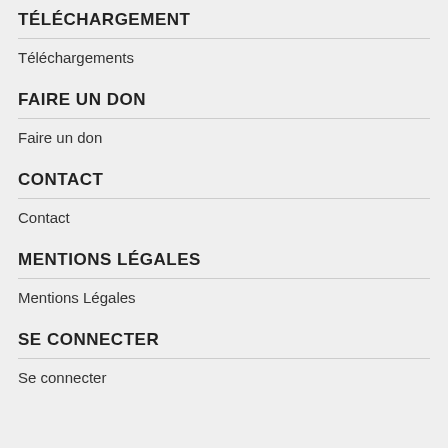TÉLÉCHARGEMENT
Téléchargements
FAIRE UN DON
Faire un don
CONTACT
Contact
MENTIONS LÉGALES
Mentions Légales
SE CONNECTER
Se connecter